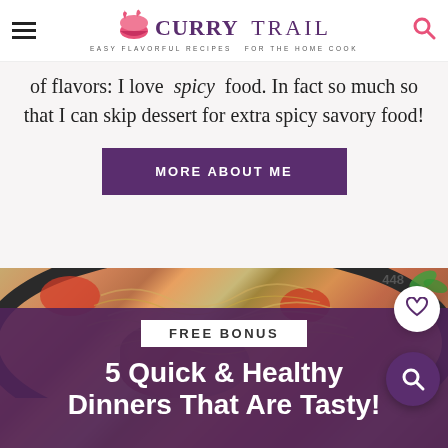Curry Trail — Easy Flavorful Recipes For The Home Cook
of flavors: I love spicy food. In fact so much so that I can skip dessert for extra spicy savory food!
MORE ABOUT ME
[Figure (photo): A dark bowl of pasta with tomato sauce, grilled chicken, and fresh herbs.]
FREE BONUS
5 Quick & Healthy Dinners That Are Tasty!